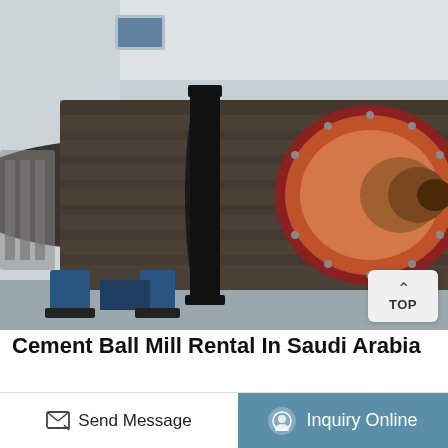[Figure (photo): Industrial cement ball mill with large cylindrical drum, gear ring, and bearing housing in a factory setting. The mill has a dark metallic barrel with a large black ring gear, and a red/copper-colored end cap with bolted flange and hollow trunnion.]
Cement Ball Mill Rental In Saudi Arabia
Estanda Completes Ball Mill Renovation In Saudi. Estanda has successfully completed the commissioning of a two-compartment cement ball mill for a cement producer in saudi arabia. the project was carried out on cement mill 2
Send Message  |  Inquiry Online